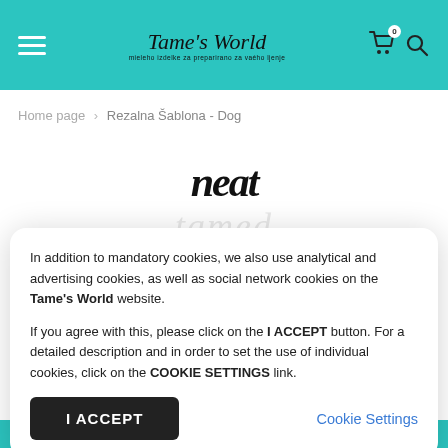Tame's World — navigation header with hamburger menu, logo, cart (0), and search icon
Home page  >  Rezalna Šablona - Dog
[Figure (screenshot): Partial product image showing stylized handwritten text 'neat' in black and a watermark 'tamed' in light gray italic]
In addition to mandatory cookies, we also use analytical and advertising cookies, as well as social network cookies on the Tame's World website.

If you agree with this, please click on the I ACCEPT button. For a detailed description and in order to set the use of individual cookies, click on the COOKIE SETTINGS link.
I ACCEPT
Cookie Settings